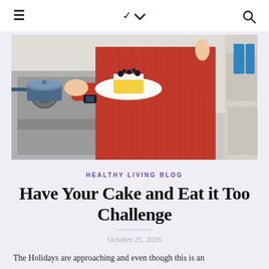≡  ∨  🔍
[Figure (photo): Person in red dress holding a white plate with a slice of cake, standing in front of a kitchen stove]
HEALTHY LIVING BLOG
Have Your Cake and Eat it Too Challenge
October 25, 2020
The Holidays are approaching and even though this is an